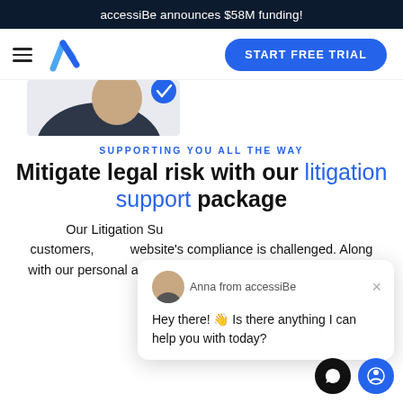accessiBe announces $58M funding!
[Figure (screenshot): Website navigation bar with hamburger menu, accessiBe checkmark logo, and START FREE TRIAL button]
[Figure (photo): Partial photo of a person in business attire]
SUPPORTING YOU ALL THE WAY
Mitigate legal risk with our litigation support package
Our Litigation Support customers, website's compliance is challenged. Along with our personal attention, the package includes professional
[Figure (screenshot): Chat popup from Anna from accessiBe: Hey there! 👋 Is there anything I can help you with today?]